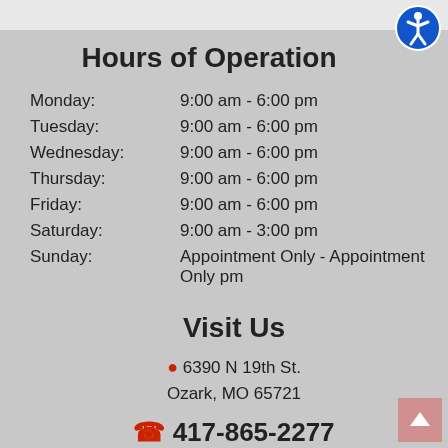Hours of Operation
| Day | Hours |
| --- | --- |
| Monday: | 9:00 am - 6:00 pm |
| Tuesday: | 9:00 am - 6:00 pm |
| Wednesday: | 9:00 am - 6:00 pm |
| Thursday: | 9:00 am - 6:00 pm |
| Friday: | 9:00 am - 6:00 pm |
| Saturday: | 9:00 am - 3:00 pm |
| Sunday: | Appointment Only - Appointment Only pm |
Visit Us
6390 N 19th St. Ozark, MO 65721
417-865-2277